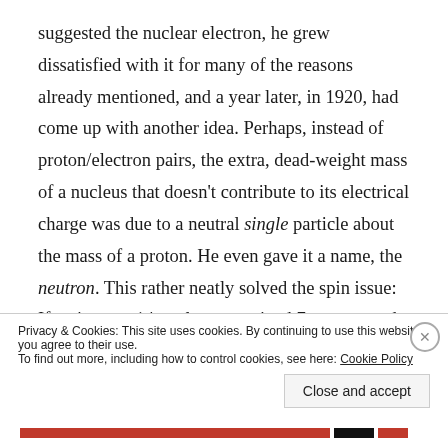suggested the nuclear electron, he grew dissatisfied with it for many of the reasons already mentioned, and a year later, in 1920, had come up with another idea. Perhaps, instead of proton/electron pairs, the extra, dead-weight mass of a nucleus that doesn't contribute to its electrical charge was due to a neutral single particle about the mass of a proton. He even gave it a name, the neutron. This rather neatly solved the spin issue: If a nitrogen-14 nucleus contained 7 protons and 7 neutrons, the spins would add to zero. Repulsive forces would still be about
Privacy & Cookies: This site uses cookies. By continuing to use this website, you agree to their use.
To find out more, including how to control cookies, see here: Cookie Policy
Close and accept